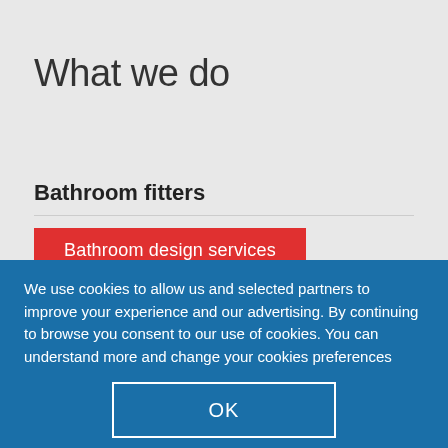What we do
Bathroom fitters
Bathroom design services
We use cookies to allow us and selected partners to improve your experience and our advertising. By continuing to browse you consent to our use of cookies. You can understand more and change your cookies preferences here.
OK